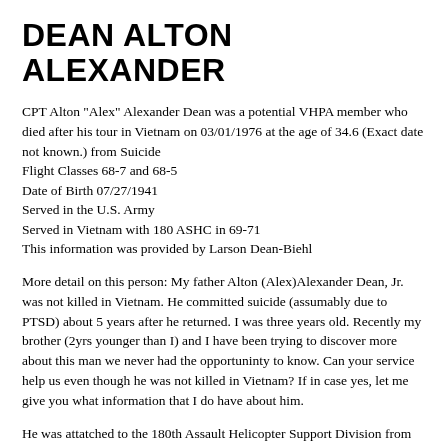DEAN ALTON ALEXANDER
CPT Alton "Alex" Alexander Dean was a potential VHPA member who died after his tour in Vietnam on 03/01/1976 at the age of 34.6 (Exact date not known.) from Suicide
Flight Classes 68-7 and 68-5
Date of Birth 07/27/1941
Served in the U.S. Army
Served in Vietnam with 180 ASHC in 69-71
This information was provided by Larson Dean-Biehl
More detail on this person: My father Alton (Alex)Alexander Dean, Jr. was not killed in Vietnam. He committed suicide (assumably due to PTSD) about 5 years after he returned. I was three years old. Recently my brother (2yrs younger than I) and I have been trying to discover more about this man we never had the opportuninty to know. Can your service help us even though he was not killed in Vietnam? If in case yes, let me give you what information that I do have about him.
He was attatched to the 180th Assault Helicopter Support Division from sometime in 1969 to sometime in early 1971. (this would make his commanding officer LTC Francis Worth. He attended flight school in Ft. Walton, TX and graduated with class 68-7 and...